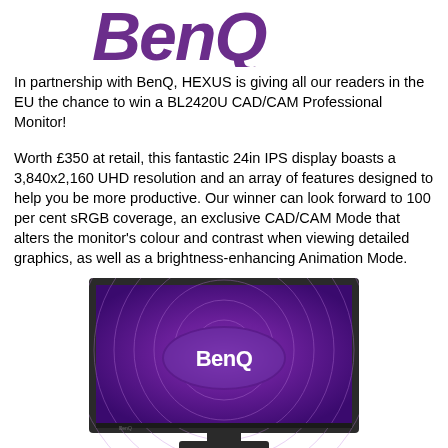[Figure (logo): BenQ logo in large purple stylized letters at the top of the page]
In partnership with BenQ, HEXUS is giving all our readers in the EU the chance to win a BL2420U CAD/CAM Professional Monitor!
Worth £350 at retail, this fantastic 24in IPS display boasts a 3,840x2,160 UHD resolution and an array of features designed to help you be more productive. Our winner can look forward to 100 per cent sRGB coverage, an exclusive CAD/CAM Mode that alters the monitor’s colour and contrast when viewing detailed graphics, as well as a brightness-enhancing Animation Mode.
[Figure (photo): Photo of a BenQ BL2420U monitor displaying a purple BenQ logo screensaver on a dark background]